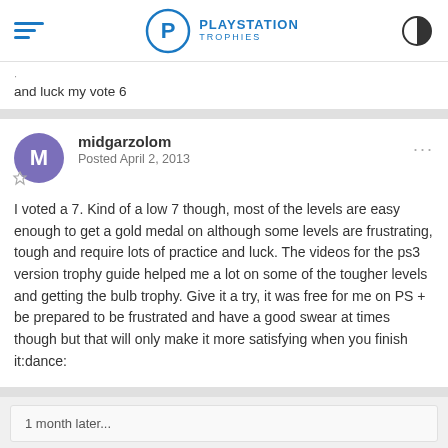PlayStation Trophies
and luck my vote 6
midgarzolom
Posted April 2, 2013

I voted a 7. Kind of a low 7 though, most of the levels are easy enough to get a gold medal on although some levels are frustrating, tough and require lots of practice and luck. The videos for the ps3 version trophy guide helped me a lot on some of the tougher levels and getting the bulb trophy. Give it a try, it was free for me on PS + be prepared to be frustrated and have a good swear at times though but that will only make it more satisfying when you finish it:dance:
1 month later...